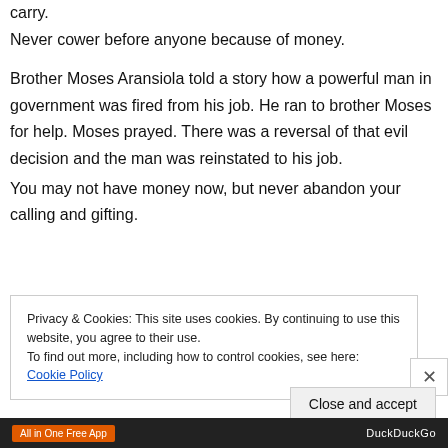carry.
Never cower before anyone because of money.
Brother Moses Aransiola told a story how a powerful man in government was fired from his job. He ran to brother Moses for help. Moses prayed. There was a reversal of that evil decision and the man was reinstated to his job.
You may not have money now, but never abandon your calling and gifting.
Privacy & Cookies: This site uses cookies. By continuing to use this website, you agree to their use.
To find out more, including how to control cookies, see here: Cookie Policy
[Figure (screenshot): Close button (X) for cookie notice]
Close and accept
[Figure (screenshot): Bottom ad bar with 'All in One Free App' orange button and DuckDuckGo text]